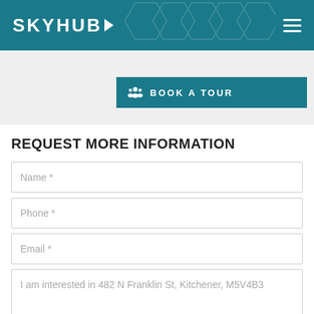SKYHUB
[Figure (screenshot): Book a Tour button with people icon on teal background]
REQUEST MORE INFORMATION
Name *
Phone *
Email *
I am interested in 482 N Franklin St, Kitchener, M5V4B3
I'm not a robot